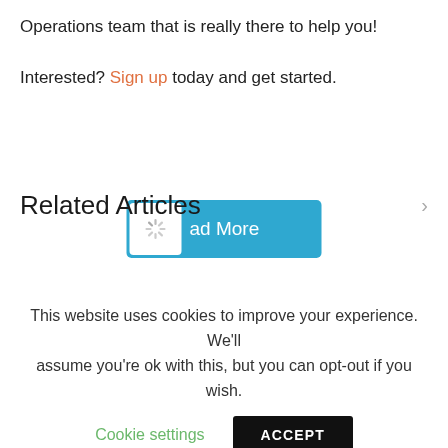Operations team that is really there to help you!
Interested? Sign up today and get started.
[Figure (screenshot): A blue 'Load More' button with a white loading spinner icon on the left side]
Related Articles
This website uses cookies to improve your experience. We'll assume you're ok with this, but you can opt-out if you wish.
Cookie settings   ACCEPT